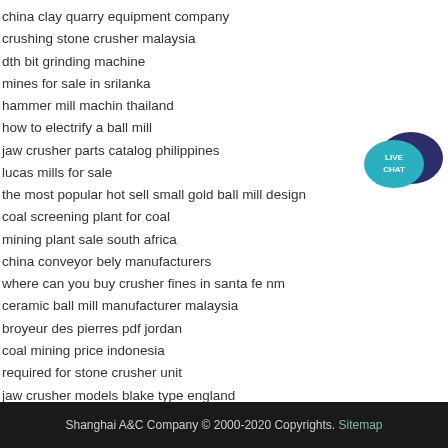china clay quarry equipment company
crushing stone crusher malaysia
dth bit grinding machine
mines for sale in srilanka
hammer mill machin thailand
how to electrify a ball mill
jaw crusher parts catalog philippines
lucas mills for sale
the most popular hot sell small gold ball mill design
coal screening plant for coal
mining plant sale south africa
china conveyor bely manufacturers
where can you buy crusher fines in santa fe nm
ceramic ball mill manufacturer malaysia
broyeur des pierres pdf jordan
coal mining price indonesia
required for stone crusher unit
jaw crusher models blake type england
[Figure (illustration): Live Chat widget with teal speech bubble and dark blue speech bubble, text LIVE CHAT in white]
Shanghai A&C Company © 2000-2020 Copyrights. Sitemap